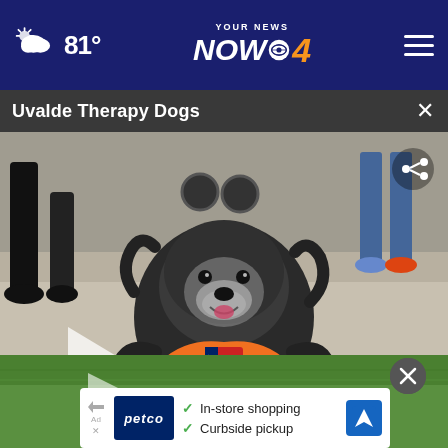81° YOUR NEWS NOW CBS 4
Uvalde Therapy Dogs
[Figure (photo): A black fluffy dog (therapy dog) wearing an orange harness with a Texas flag patch, sitting on pavement outdoors. People's legs visible in the background. A play button overlay is visible on the left side.]
[Figure (photo): Partial view of a grass/outdoor area below the main video, with a small play button overlay.]
[Figure (other): Petco advertisement banner showing Petco logo, checkmarks for In-store shopping and Curbside pickup, and a navigation/map icon on the right.]